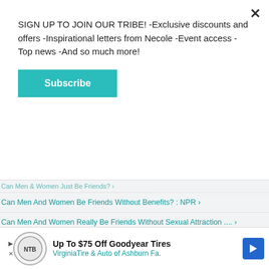SIGN UP TO JOIN OUR TRIBE! -Exclusive discounts and offers -Inspirational letters from Necole -Event access -Top news -And so much more!
Subscribe
Can Men & Women Just Be Friends? ›
Can Men And Women Be Friends Without Benefits? : NPR ›
Can Men And Women Really Be Friends Without Sexual Attraction .... ›
Can Men And Women Really Be Friends Without Sexual Attraction .... ›
Can Men and Women Really Be Just Friends? | Shape Magazine ›
Can Men and Women Really Be Just Friends? | Shape Magazine ›
Men and women can never be friends - but sex has nothing to do .... ›
Why Men and Women Cant be friends - YouTube ›
Why Men and Women Cant be friends - YouTube ›
Up To $75 Off Goodyear Tires VirginiaTire & Auto of Ashburn Fa.